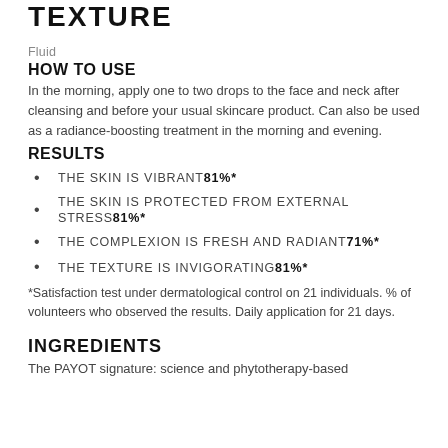TEXTURE
Fluid
HOW TO USE
In the morning, apply one to two drops to the face and neck after cleansing and before your usual skincare product. Can also be used as a radiance-boosting treatment in the morning and evening.
RESULTS
THE SKIN IS VIBRANT 81%*
THE SKIN IS PROTECTED FROM EXTERNAL STRESS 81%*
THE COMPLEXION IS FRESH AND RADIANT 71%*
THE TEXTURE IS INVIGORATING 81%*
*Satisfaction test under dermatological control on 21 individuals. % of volunteers who observed the results. Daily application for 21 days.
INGREDIENTS
The PAYOT signature: science and phytotherapy-based